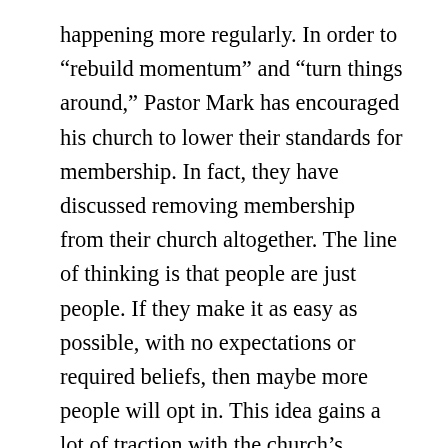happening more regularly. In order to “rebuild momentum” and “turn things around,” Pastor Mark has encouraged his church to lower their standards for membership. In fact, they have discussed removing membership from their church altogether. The line of thinking is that people are just people. If they make it as easy as possible, with no expectations or required beliefs, then maybe more people will opt in. This idea gains a lot of traction with the church’s existing membership and they make it a major emphasis as they promote their church out in the community. For a brief time, the emphasis seems to work, attracting a handful of newer people to the church. But they don’t stick around very long because their